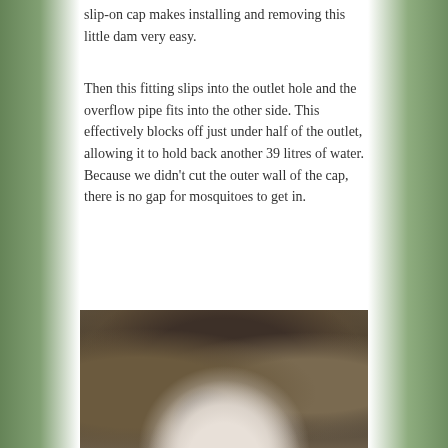slip-on cap makes installing and removing this little dam very easy.
Then this fitting slips into the outlet hole and the overflow pipe fits into the other side. This effectively blocks off just under half of the outlet, allowing it to hold back another 39 litres of water. Because we didn’t cut the outer wall of the cap, there is no gap for mosquitoes to get in.
[Figure (photo): A blurred close-up photograph showing a white circular fitting or cap with two holes/slots visible, placed on a wooden or rough surface, with blurred background elements.]